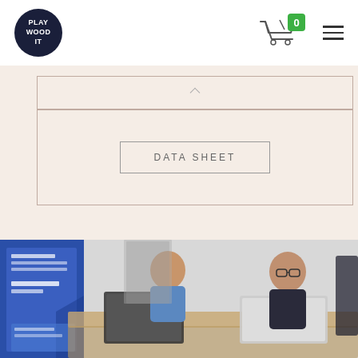[Figure (logo): PLAYWOOD.IT circular dark blue logo]
[Figure (screenshot): Shopping cart icon with green badge showing 0]
[Figure (other): Hamburger menu icon (three horizontal lines)]
DATA SHEET
[Figure (photo): Two men sitting at a wooden desk with laptops, a blue banner/display in the background on the left showing marketing content]